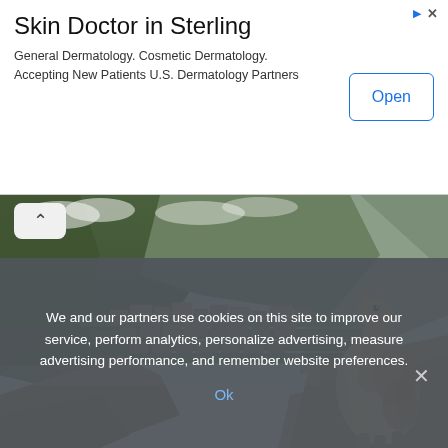Skin Doctor in Sterling
General Dermatology. Cosmetic Dermatology. Accepting New Patients U.S. Dermatology Partners
[Figure (screenshot): Machu Picchu ruins with a llama in the foreground and steep green mountains in the background]
11 Most Isolated Places At The End Of The Earth
Relocation Target | Sponsored
We and our partners use cookies on this site to improve our service, perform analytics, personalize advertising, measure advertising performance, and remember website preferences.